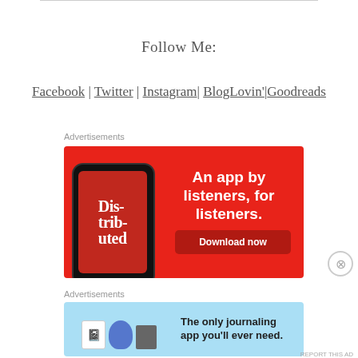Follow Me:
Facebook | Twitter | Instagram| BlogLovin'|Goodreads
Advertisements
[Figure (illustration): Red advertisement banner for a podcast app. Shows a smartphone with 'Distributed' podcast, tagline 'An app by listeners, for listeners.' and a 'Download now' button.]
Advertisements
[Figure (illustration): Light blue advertisement banner for Day One journaling app. Shows DAY ONE branding with icons and text 'The only journaling app you'll ever need.']